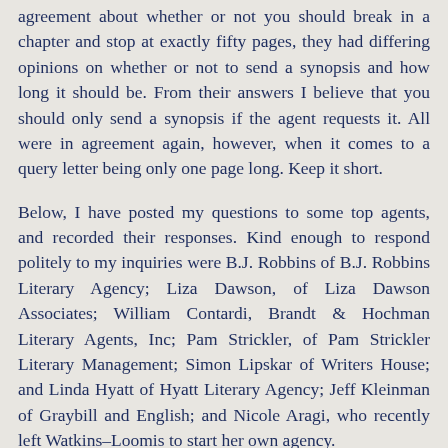agreement about whether or not you should break in a chapter and stop at exactly fifty pages, they had differing opinions on whether or not to send a synopsis and how long it should be. From their answers I believe that you should only send a synopsis if the agent requests it. All were in agreement again, however, when it comes to a query letter being only one page long. Keep it short.
Below, I have posted my questions to some top agents, and recorded their responses. Kind enough to respond politely to my inquiries were B.J. Robbins of B.J. Robbins Literary Agency; Liza Dawson, of Liza Dawson Associates; William Contardi, Brandt & Hochman Literary Agents, Inc; Pam Strickler, of Pam Strickler Literary Management; Simon Lipskar of Writers House; and Linda Hyatt of Hyatt Literary Agency; Jeff Kleinman of Graybill and English; and Nicole Aragi, who recently left Watkins–Loomis to start her own agency.